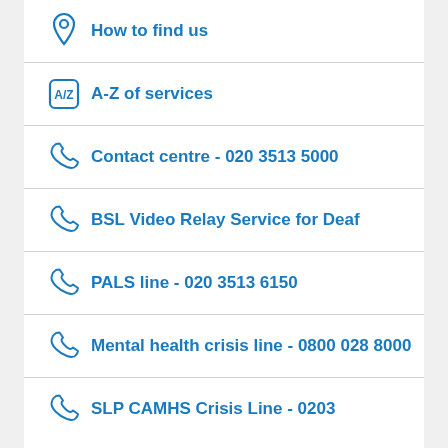How to find us
A-Z of services
Contact centre - 020 3513 5000
BSL Video Relay Service for Deaf
PALS line - 020 3513 6150
Mental health crisis line - 0800 028 8000
SLP CAMHS Crisis Line - 0203